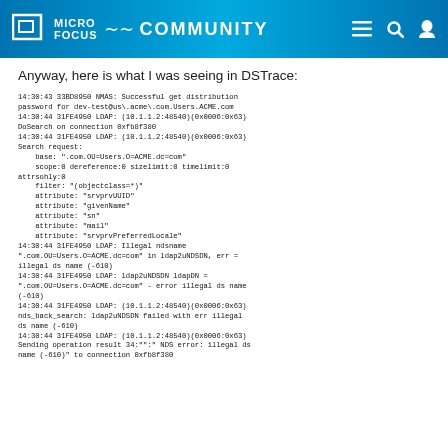MICRO FOCUS COMMUNITY
Anyway, here is what I was seeing in DSTrace:
14:30:43 33BD8950 NMAS: Successful get distribution password for dev-test@us\.acme\.com.Users.ACME.com
14:30:44 31FE4950 LDAP: (10.1.1.2:48540)(0x0006:0x63) DoSearch on connection 0xfb8f380
14:30:44 31FE4950 LDAP: (10.1.1.2:48540)(0x0006:0x63) Search request:
    base: ".com.OU=Users.O=ACME.dc=com"
    scope:0 dereference:0 sizelimit:0 timelimit:0 attrsohly:0
    filter: "(objectclass=*)"
    attribute: "srvprvUUID"
    attribute: "givenName"
    attribute: "sn"
    attribute: "mail"
    attribute: "srvprvPreferredLocale"
14:30:44 31FE4950 LDAP: Illegal ndsname ".com.OU=Users.O=ACME.dc=com" in ldap2uNDSDN, err = illegal ds name (-610)
14:30:44 31FE4950 LDAP: ldap2uNDSDN ldapDN = ".com.OU=Users.O=ACME.dc=com" - error illegal ds name (-610)
14:30:44 31FE4950 LDAP: (10.1.1.2:48540)(0x0006:0x63) nds_back_search: ldap2uNDSDN failed with err illegal ds name (-610)
14:30:44 31FE4950 LDAP: (10.1.1.2:48540)(0x0006:0x63) Sending operation result 34:"":"NDS error: illegal ds name (-610)" to connection 0xfb8f380